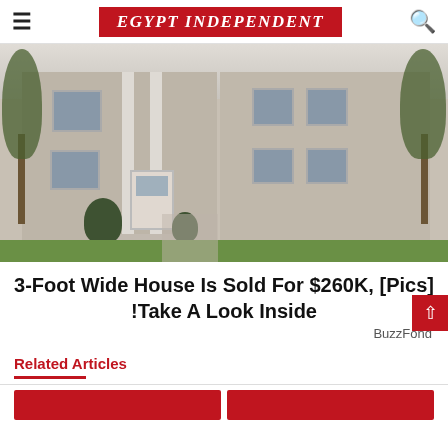EGYPT INDEPENDENT
[Figure (photo): Exterior photo of a two-story colonial-style house with tan siding, white pillars, dark shutters, landscaped shrubs, and a green lawn]
3-Foot Wide House Is Sold For $260K, [Pics] !Take A Look Inside
BuzzFond
Related Articles